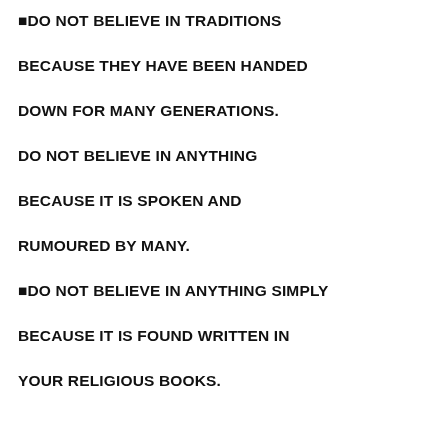■DO NOT BELIEVE IN TRADITIONS BECAUSE THEY HAVE BEEN HANDED DOWN FOR MANY GENERATIONS.

DO NOT BELIEVE IN ANYTHING BECAUSE IT IS SPOKEN AND RUMOURED BY MANY.

■DO NOT BELIEVE IN ANYTHING SIMPLY BECAUSE IT IS FOUND WRITTEN IN YOUR RELIGIOUS BOOKS.